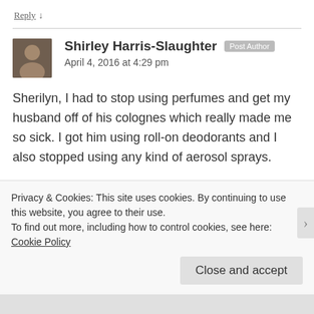Reply ↓
Shirley Harris-Slaughter  Post Author
April 4, 2016 at 4:29 pm
Sherilyn, I had to stop using perfumes and get my husband off of his colognes which really made me so sick. I got him using roll-on deodorants and I also stopped using any kind of aerosol sprays.
★ Like
Privacy & Cookies: This site uses cookies. By continuing to use this website, you agree to their use.
To find out more, including how to control cookies, see here: Cookie Policy
Close and accept